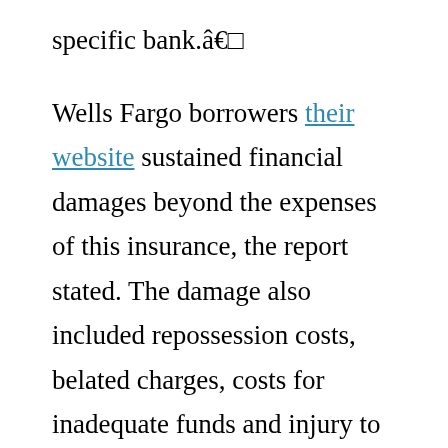specific bank.â€
Wells Fargo borrowers their website sustained financial damages beyond the expenses of this insurance, the report stated. The damage also included repossession costs, belated charges, costs for inadequate funds and injury to customersâ€™ credit reports.
The Consumer Financial Protection Bureauâ€™s database shows in recent years, consumers have complained to federal